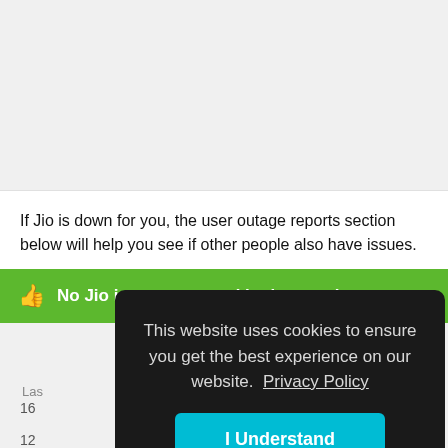If Jio is down for you, the user outage reports section below will help you see if other people also have issues.
No Jio issues reported in the past hour
This website uses cookies to ensure you get the best experience on our website.  Privacy Policy
I Understand
Las
16
12